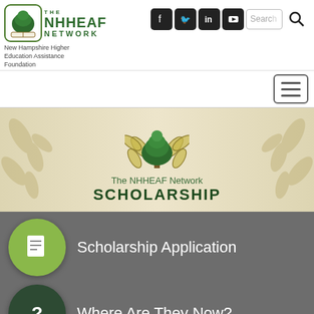[Figure (logo): NHHEAF Network logo with tree icon, green text, and tagline 'New Hampshire Higher Education Assistance Foundation']
[Figure (screenshot): Social media icons: Facebook, Twitter, LinkedIn, YouTube; search bar with magnifying glass]
[Figure (illustration): Hamburger menu icon (three horizontal lines) in a rounded rectangle button]
[Figure (illustration): The NHHEAF Network Scholarship banner with green tree logo and laurel leaves background]
Scholarship Application
Where Are They Now?